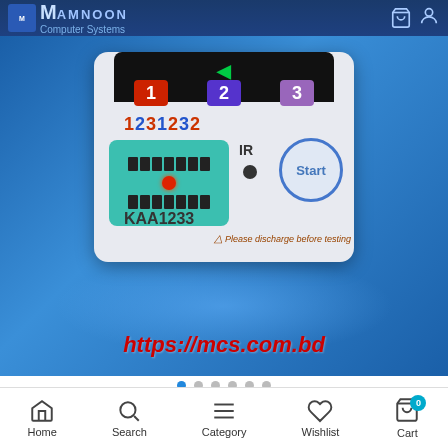Mamnoon Computer Systems
[Figure (photo): Product photo of an electronic component tester device (KAA1233 model) with ZIF socket, IR sensor, Start button, numbered indicator boxes (1, 2, 3), and warning text 'Please discharge before testing'. Blue gradient background with website URL https://mcs.com.bd overlaid in red italic text.]
https://mcs.com.bd
Home  Search  Category  Wishlist  Cart